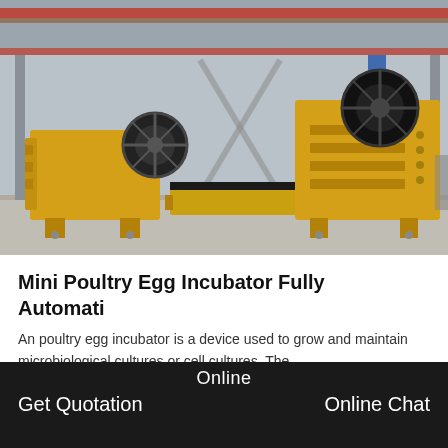[Figure (photo): Industrial factory floor showing large yellow jaw crusher machines and conveyor equipment inside a warehouse with red overhead crane beams.]
Mini Poultry Egg Incubator Fully Automati
An poultry egg incubator is a device used to grow and maintain microbiological cultures or cell cultures. The
[Figure (photo): Broken image placeholder icon]
Online
Get Quotation    Online Chat